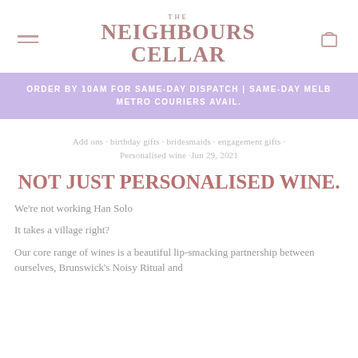THE NEIGHBOURS CELLAR
ORDER BY 10AM FOR SAME-DAY DISPATCH | SAME-DAY MELB METRO COURIERS AVAIL.
Add ons · birthday gifts · bridesmaids · engagement gifts · Personalised wine ·Jun 29, 2021
NOT JUST PERSONALISED WINE.
We're not working Han Solo
It takes a village right?
Our core range of wines is a beautiful lip-smacking partnership between ourselves, Brunswick's Noisy Ritual and